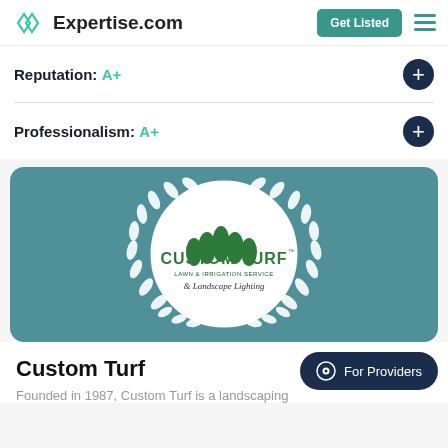Expertise.com
Reputation: A+
Professionalism: A+
[Figure (logo): Custom Turf Lawn & Irrigation Service & Landscape Lighting logo centered in a white circle with decorative white laurel wreath on teal background]
Custom Turf
Founded in 1987, Custom Turf is a landscaping